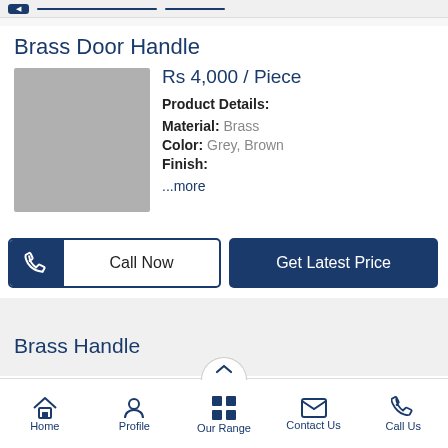Brass Door Handle
Rs 4,000 / Piece
Product Details:
Material: Brass
Color: Grey, Brown
Finish:
...more
[Figure (photo): Product image placeholder (grey square) for Brass Door Handle]
Call Now
Get Latest Price
Brass Handle
Home | Profile | Our Range | Contact Us | Call Us